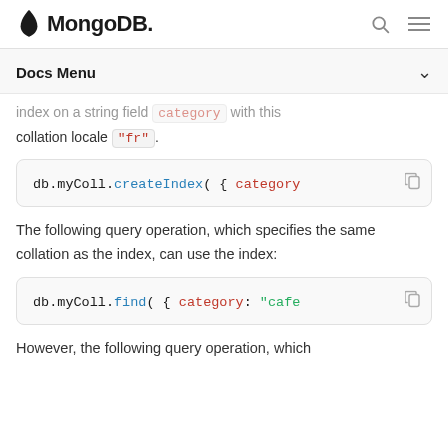MongoDB
Docs Menu
index on a string field category with this collation locale "fr".
[Figure (screenshot): Code block showing: db.myColl.createIndex( { category]
The following query operation, which specifies the same collation as the index, can use the index:
[Figure (screenshot): Code block showing: db.myColl.find( { category: "cafe]
However, the following query operation, which